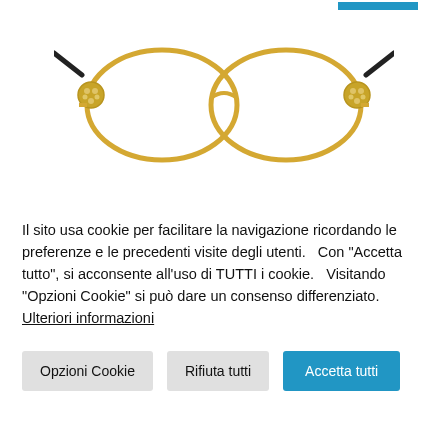[Figure (photo): Gold-framed oval eyeglasses with decorative crystal embellishments at the temples, black temples, photographed on white background]
Il sito usa cookie per facilitare la navigazione ricordando le preferenze e le precedenti visite degli utenti.   Con "Accetta tutto", si acconsente all'uso di TUTTI i cookie.   Visitando "Opzioni Cookie" si può dare un consenso differenziato.
Ulteriori informazioni
Opzioni Cookie
Rifiuta tutti
Accetta tutti